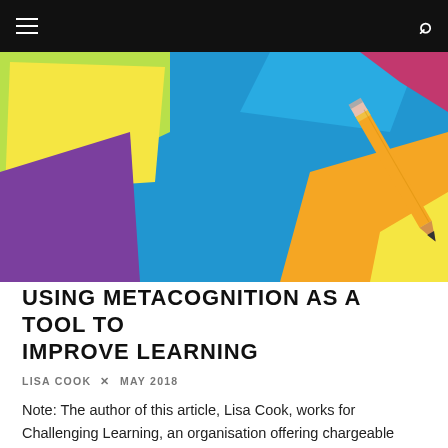≡  🔍
[Figure (photo): Overhead view of colorful sticky notes (yellow, green, purple, blue, orange) scattered on a blue background with a pencil resting on one of them]
USING METACOGNITION AS A TOOL TO IMPROVE LEARNING
LISA COOK × MAY 2018
Note: The author of this article, Lisa Cook, works for Challenging Learning, an organisation offering chargeable support, training and consultancy services to s...
LEARNING TO LEARN   0 COMMENTS   5 MIN READ